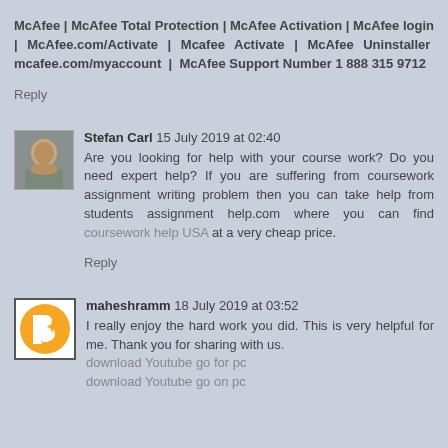McAfee | McAfee Total Protection | McAfee Activation | McAfee login | McAfee.com/Activate | Mcafee Activate | McAfee Uninstaller mcafee.com/myaccount | McAfee Support Number 1 888 315 9712
Reply
Stefan Carl 15 July 2019 at 02:40
Are you looking for help with your course work? Do you need expert help? If you are suffering from coursework assignment writing problem then you can take help from students assignment help.com where you can find coursework help USA at a very cheap price.
Reply
maheshramm 18 July 2019 at 03:52
I really enjoy the hard work you did. This is very helpful for me. Thank you for sharing with us.
download Youtube go for pc
download Youtube go on pc